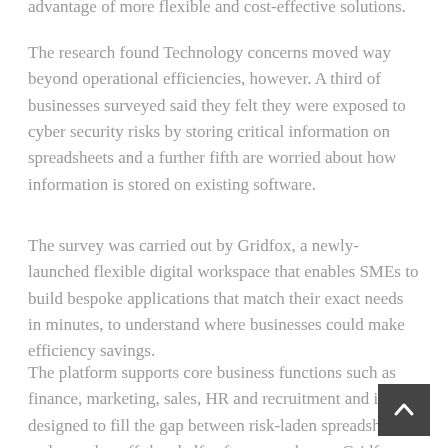advantage of more flexible and cost-effective solutions.
The research found Technology concerns moved way beyond operational efficiencies, however. A third of businesses surveyed said they felt they were exposed to cyber security risks by storing critical information on spreadsheets and a further fifth are worried about how information is stored on existing software.
The survey was carried out by Gridfox, a newly-launched flexible digital workspace that enables SMEs to build bespoke applications that match their exact needs in minutes, to understand where businesses could make efficiency savings.
The platform supports core business functions such as finance, marketing, sales, HR and recruitment and is designed to fill the gap between risk-laden spreadshe... and complex off-the-shelf software packages. Gridfox